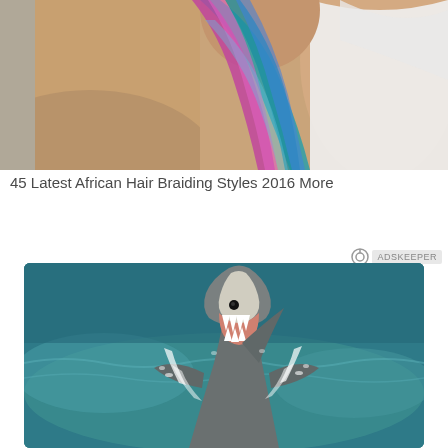[Figure (photo): Close-up photo of a person's shoulder and neck area with colorful iridescent/holographic hair visible — blue, teal, and pink tones — wearing a white sleeveless top]
45 Latest African Hair Braiding Styles 2016 More
[Figure (photo): Photo of a great white shark leaping out of the ocean water with mouth open showing teeth, ocean waves and spray around it, teal/blue water background]